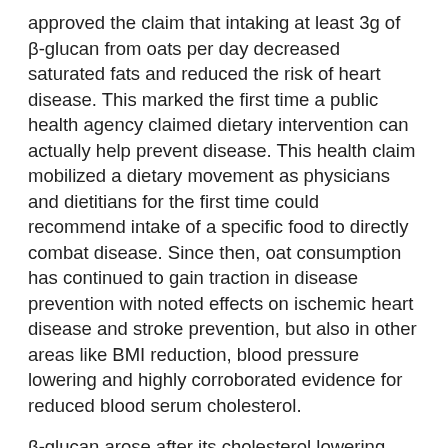approved the claim that intaking at least 3g of β-glucan from oats per day decreased saturated fats and reduced the risk of heart disease. This marked the first time a public health agency claimed dietary intervention can actually help prevent disease. This health claim mobilized a dietary movement as physicians and dietitians for the first time could recommend intake of a specific food to directly combat disease. Since then, oat consumption has continued to gain traction in disease prevention with noted effects on ischemic heart disease and stroke prevention, but also in other areas like BMI reduction, blood pressure lowering and highly corroborated evidence for reduced blood serum cholesterol.
β-glucan arose after its cholesterol lowering effect was reported in 1984 that at least 3 g of β-glucan from oats per day decreased saturated fats and reduced the risk of heart disease"
A Flexible Porridge Recipe